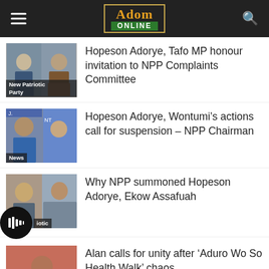Adom Online
Hopeson Adorye, Tafo MP honour invitation to NPP Complaints Committee
Hopeson Adorye, Wontumi’s actions call for suspension – NPP Chairman
Why NPP summoned Hopeson Adorye, Ekow Assafuah
Alan calls for unity after ‘Aduro Wo So Health Walk’ chaos